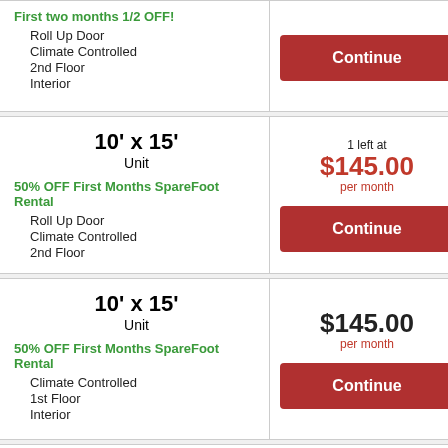First two months 1/2 OFF!
Roll Up Door
Climate Controlled
2nd Floor
Interior
Continue
10' x 15'
Unit
1 left at
$145.00
per month
50% OFF First Months SpareFoot Rental
Roll Up Door
Climate Controlled
2nd Floor
Continue
10' x 15'
Unit
$145.00
per month
50% OFF First Months SpareFoot Rental
Climate Controlled
1st Floor
Interior
Continue